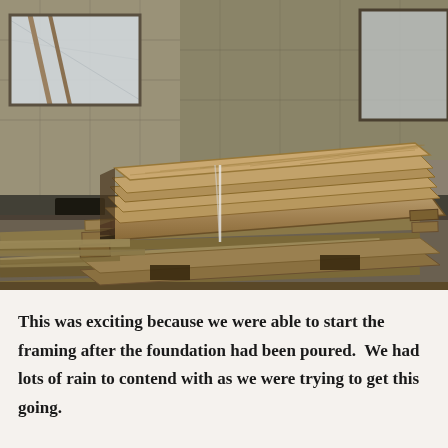[Figure (photo): Construction site photograph showing stacked wooden lumber boards and planks on the ground inside a building under construction. The framing structure is visible with OSB sheathing walls and window openings covered with plastic sheeting. Boards are bundled with straps.]
This was exciting because we were able to start the framing after the foundation had been poured.  We had lots of rain to contend with as we were trying to get this going.